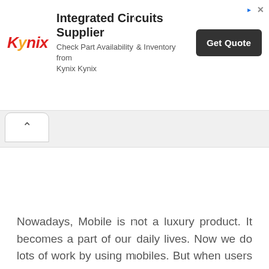[Figure (screenshot): Advertisement banner for Kynix Integrated Circuits Supplier with logo, text 'Check Part Availability & Inventory from Kynix Kynix', and a 'Get Quote' button]
[Figure (screenshot): Browser UI tab area with a back/collapse caret tab button on the left]
Nowadays, Mobile is not a luxury product. It becomes a part of our daily lives. Now we do lots of work by using mobiles. But when users want to